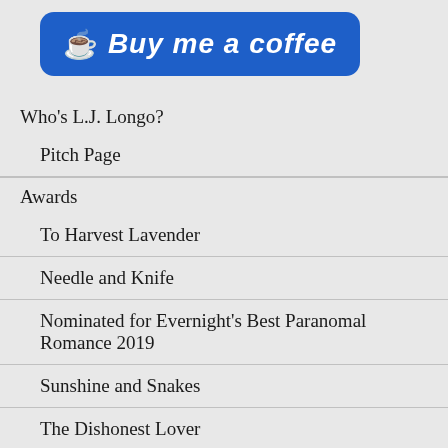[Figure (other): Buy me a coffee blue button with coffee cup icon and italic white text]
Who's L.J. Longo?
Pitch Page
Awards
To Harvest Lavender
Needle and Knife
Nominated for Evernight's Best Paranomal Romance 2019
Sunshine and Snakes
The Dishonest Lover
First Chapter of “The Scarf”